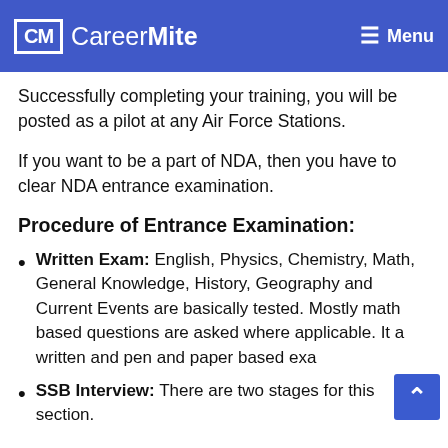CM CareerMite | Menu
Successfully completing your training, you will be posted as a pilot at any Air Force Stations.
If you want to be a part of NDA, then you have to clear NDA entrance examination.
Procedure of Entrance Examination:
Written Exam: English, Physics, Chemistry, Math, General Knowledge, History, Geography and Current Events are basically tested. Mostly math based questions are asked where applicable. It a written and pen and paper based exa
SSB Interview: There are two stages for this section.